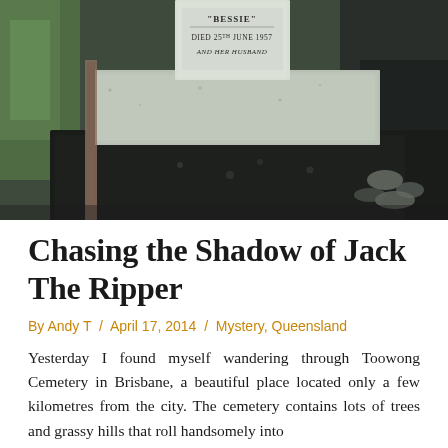[Figure (photo): Close-up photograph of a grave monument at Toowong Cemetery. The headstone reads 'BESSIE / DIED 25th JUNE 1957 / AND HER HUSBAND'. The monument is made of white and dark granite stone blocks, with grass and other grave markers visible in the background.]
Chasing the Shadow of Jack The Ripper
By Andy T / April 17, 2014 / Mystery, Queensland
Yesterday I found myself wandering through Toowong Cemetery in Brisbane, a beautiful place located only a few kilometres from the city. The cemetery contains lots of trees and grassy hills that roll handsomely into